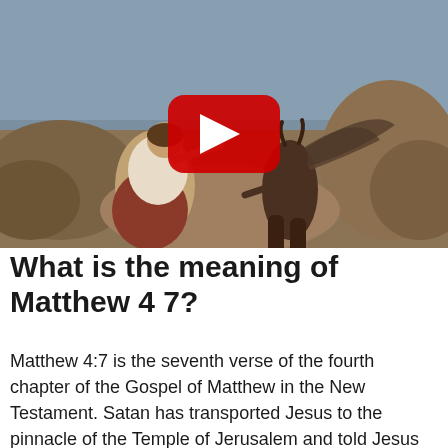[Figure (screenshot): A painting depicting Jesus seated on rocks gesturing toward a demonic winged figure (Satan), with a YouTube play button overlay in the center.]
What is the meaning of Matthew 4 7?
Matthew 4:7 is the seventh verse of the fourth chapter of the Gospel of Matthew in the New Testament. Satan has transported Jesus to the pinnacle of the Temple of Jerusalem and told Jesus that he should